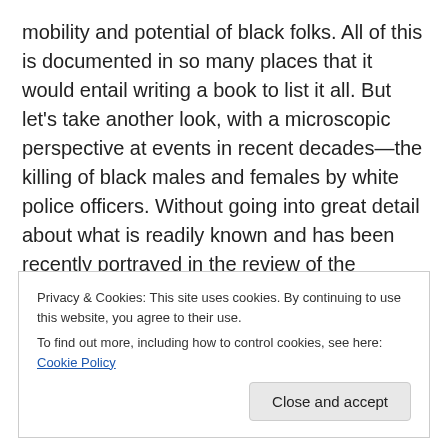mobility and potential of black folks. All of this is documented in so many places that it would entail writing a book to list it all. But let's take another look, with a microscopic perspective at events in recent decades—the killing of black males and females by white police officers. Without going into great detail about what is readily known and has been recently portrayed in the review of the practices of police officers who appear to not think twice about shooting a black person (suspect), but will go out of their way to treat known white killers with dignity and
Privacy & Cookies: This site uses cookies. By continuing to use this website, you agree to their use.
To find out more, including how to control cookies, see here: Cookie Policy